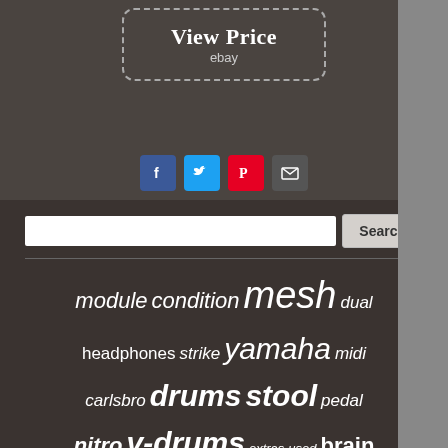[Figure (screenshot): View Price button with dashed border on dark background, linked to eBay]
[Figure (infographic): Social sharing icons: Facebook (blue), Twitter (light blue), Pinterest (red), Email (grey)]
[Figure (other): Search bar with text input and Search button]
module condition mesh dual headphones strike yamaha midi carlsbro drums stool pedal nitro v-drums extras used brain electric sticks pads drum roland electronic